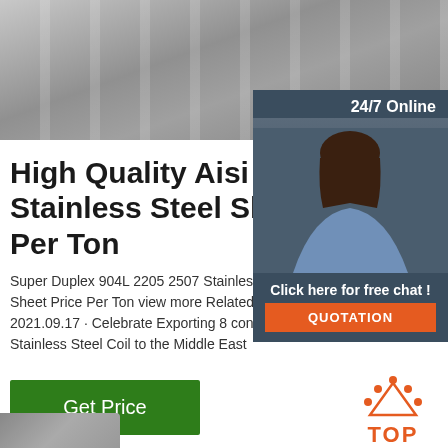[Figure (photo): Stainless steel sheets/plates stacked in a warehouse setting, metallic grey color with markings]
[Figure (infographic): 24/7 Online chat widget with a woman wearing a headset, blue-grey background, with 'Click here for free chat!' text and orange QUOTATION button]
High Quality Aisi SUS 3 Stainless Steel Sheet P Per Ton
Super Duplex 904L 2205 2507 Stainless Sheet Price Per Ton view more Related 2021.09.17 · Celebrate Exporting 8 conta Stainless Steel Coil to the Middle East
[Figure (other): Green 'Get Price' button]
[Figure (logo): TOP logo in orange with decorative dots forming an arch/triangle shape above the text]
[Figure (photo): Partial view of dark metallic material at bottom left corner]